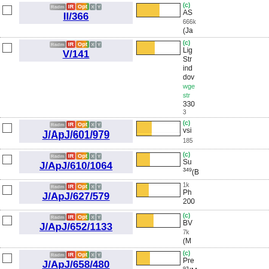II/366 — AS... 666k (Ja...
V/141 — Light Str... ind... do... wge... str... 330... 3
J/ApJ/601/979 — vsiz... 185 (c)
J/ApJ/610/1064 — Sub... (Ba... 349 (c)
J/ApJ/627/579 — Pho... 200... 1k
J/ApJ/652/1133 — BV... (M... 7k (c)
J/ApJ/658/480 — Pre... (M... 93 (c)